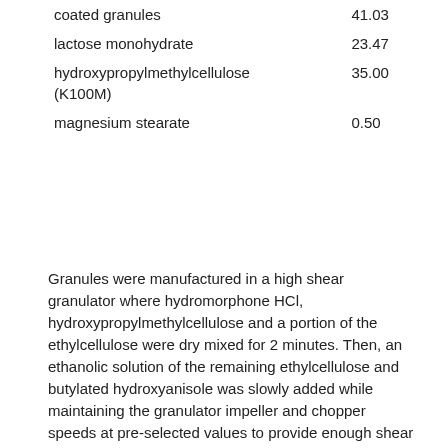|  |  |
| --- | --- |
| coated granules | 41.03 |
| lactose monohydrate | 23.47 |
| hydroxypropylmethylcellulose (K100M) | 35.00 |
| magnesium stearate | 0.50 |
Granules were manufactured in a high shear granulator where hydromorphone HCl, hydroxypropylmethylcellulose and a portion of the ethylcellulose were dry mixed for 2 minutes. Then, an ethanolic solution of the remaining ethylcellulose and butylated hydroxyanisole was slowly added while maintaining the granulator impeller and chopper speeds at pre-selected values to provide enough shear for granule formation and growth. Solution addition was continued until the aforementioned percentage of ethylcellulose was realized. The granules were then milled in a granumill and finally dried.
The uncoated granules were then coated in a bottom spray fluid bed using a 15% alcoholic suspension of a 2:1 ethylcellulose/compritol mixture to provide a coat of 40% by weight of the coated granules. Coated granules were mixed with lactose and hydroxypropylmethylcellulose in a V-blender for a period of about 30 minutes. Magnesium stearate was added and the mixture blended for an additional 5 minutes. The amount of coated granules charged into the tablet is based on the actual coated granule content of